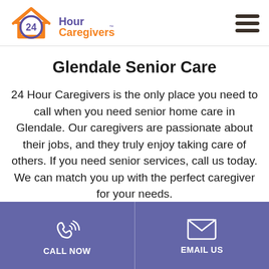[Figure (logo): 24 Hour Caregivers logo with orange house/roof icon and purple circle with '24' text, followed by 'Hour Caregivers™' text in purple and orange]
Glendale Senior Care
24 Hour Caregivers is the only place you need to call when you need senior home care in Glendale. Our caregivers are passionate about their jobs, and they truly enjoy taking care of others. If you need senior services, call us today. We can match you up with the perfect caregiver for your needs.
CALL NOW | EMAIL US